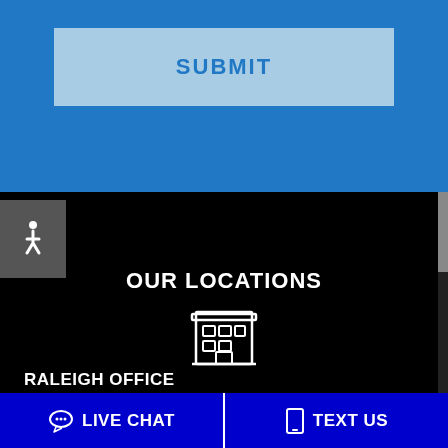[Figure (screenshot): Blue background section with a light blue SUBMIT button]
SUBMIT
[Figure (illustration): Accessibility wheelchair icon on dark grey background]
OUR LOCATIONS
[Figure (illustration): White outline building/office icon]
RALEIGH OFFICE
3110 Edwards Mill Rd
LIVE CHAT
TEXT US